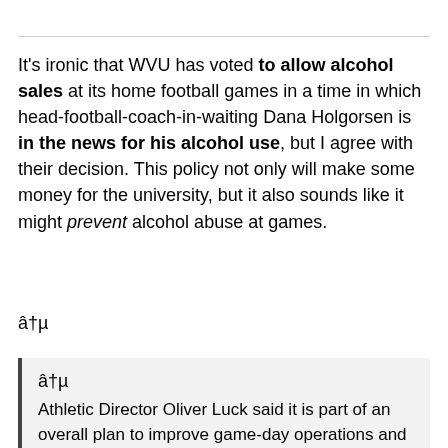It's ironic that WVU has voted to allow alcohol sales at its home football games in a time in which head-football-coach-in-waiting Dana Holgorsen is in the news for his alcohol use, but I agree with their decision. This policy not only will make some money for the university, but it also sounds like it might prevent alcohol abuse at games.
â†µ
â†µ Athletic Director Oliver Luck said it is part of an overall plan to improve game-day operations and public safety, including no stadium re-entry after halftime and adding designated smoking areas outside the stadium concourse. In the past, fans